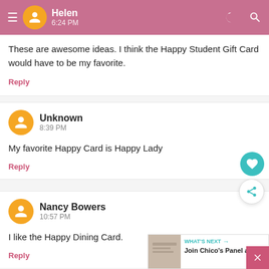Helen · 6:24 PM
These are awesome ideas. I think the Happy Student Gift Card would have to be my favorite.
Reply
Unknown · 8:39 PM
My favorite Happy Card is Happy Lady
Reply
Nancy Bowers · 10:57 PM
I like the Happy Dining Card.
Reply